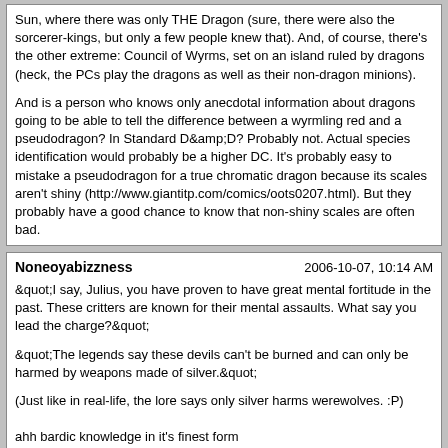Sun, where there was only THE Dragon (sure, there were also the sorcerer-kings, but only a few people knew that). And, of course, there's the other extreme: Council of Wyrms, set on an island ruled by dragons (heck, the PCs play the dragons as well as their non-dragon minions).

And is a person who knows only anecdotal information about dragons going to be able to tell the difference between a wyrmling red and a pseudodragon? In Standard D&D? Probably not. Actual species identification would probably be a higher DC. It's probably easy to mistake a pseudodragon for a true chromatic dragon because its scales aren't shiny (http://www.giantitp.com/comics/oots0207.html). But they probably have a good chance to know that non-shiny scales are often bad.

Personally, I'm glad that we're beginning to get more reasonable Knowledge DCs actually attached to monsters (MM4 and Dragon ecology articles) that actually have some basis on how much is actually known rather than simply 'cause they have a bunch of hit points. And I just want to mention that there is at least one case (Green Hag in Dragon) where a check that is too low actually reveals misinformation (a commonly belived myth about the hags) as if it were fact.
Noneoyabizzness
2006-10-07, 10:14 AM

&quot;I say, Julius, you have proven to have great mental fortitude in the past. These critters are known for their mental assaults. What say you lead the charge?&quot;

&quot;The legends say these devils can't be burned and can only be harmed by weapons made of silver.&quot;

(Just like in real-life, the lore says only silver harms werewolves. :P)

ahh bardic knowledge in it's finest form